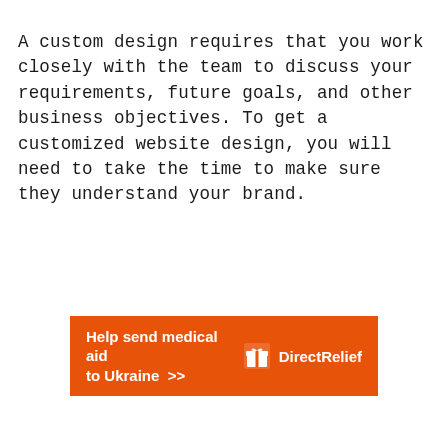A custom design requires that you work closely with the team to discuss your requirements, future goals, and other business objectives. To get a customized website design, you will need to take the time to make sure they understand your brand.
[Figure (infographic): Orange advertisement banner for Direct Relief: 'Help send medical aid to Ukraine >>' with Direct Relief logo on the right]